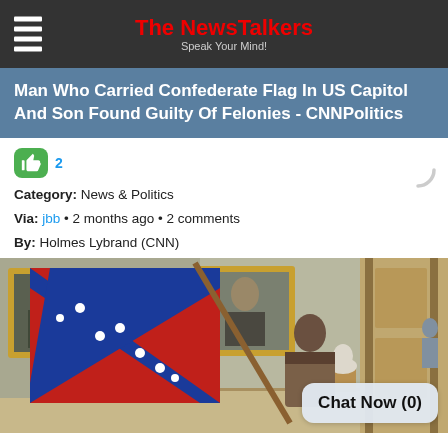The NewsTalkers — Speak Your Mind!
Man Who Carried Confederate Flag In US Capitol And Son Found Guilty Of Felonies - CNNPolitics
2
Category: News & Politics
Via: jbb · 2 months ago · 2 comments
By: Holmes Lybrand (CNN)
[Figure (photo): A man carrying a large Confederate flag walks through the US Capitol building hallway, with framed portraits on the wall and a white bust visible in the background. A chat button overlay reads 'Chat Now (0)'.]